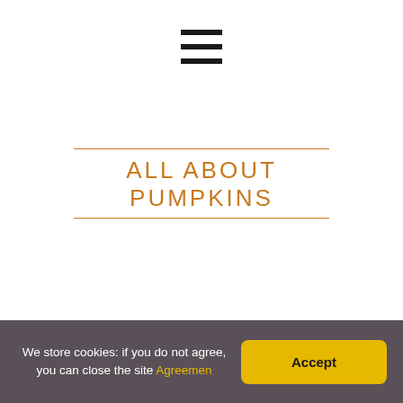[Figure (other): Hamburger menu icon — three thick horizontal black bars stacked vertically, centered at top of page]
ALL ABOUT PUMPKINS
We store cookies: if you do not agree, you can close the site Agreemen Accept